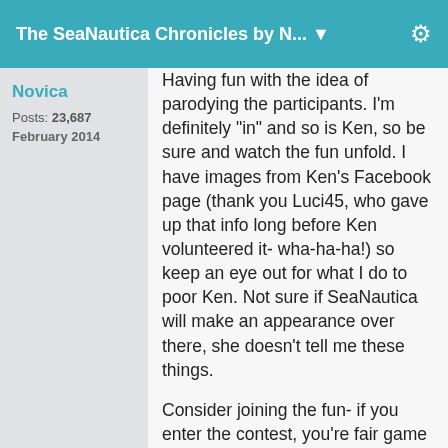The SeaNautica Chronicles by N... ▼
Novica
Posts: 23,687
February 2014
Having fun with the idea of parodying the participants. I'm definitely "in" and so is Ken, so be sure and watch the fun unfold. I have images from Ken's Facebook page (thank you Luci45, who gave up that info long before Ken volunteered it- wha-ha-ha!) so keep an eye out for what I do to poor Ken. Not sure if SeaNautica will make an appearance over there, she doesn't tell me these things.
Consider joining the fun- if you enter the contest, you're fair game for a parody. (That